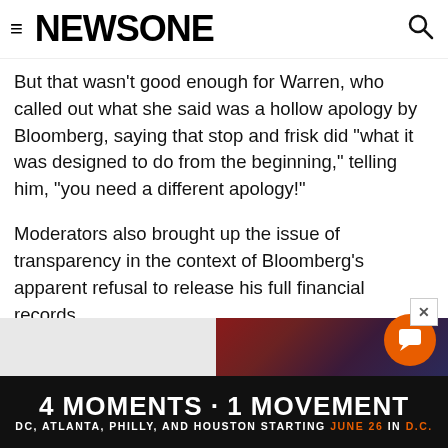≡ NEWSONE 🔍
But that wasn't good enough for Warren, who called out what she said was a hollow apology by Bloomberg, saying that stop and frisk did "what it was designed to do from the beginning," telling him, "you need a different apology!"
Moderators also brought up the issue of transparency in the context of Bloomberg's apparent refusal to release his full financial records.
"They'll be out in a few weeks," Bloomberg said nonchalantly, insisting he makes a lot of money and preparing that type of paperwork takes time.
[Figure (illustration): Advertisement banner: '4 MOMENTS · 1 MOVEMENT' with subtitle 'DC, ATLANTA, PHILLY, AND HOUSTON STARTING JUNE 26 IN D.C.' on black background with colorful image strip above.]